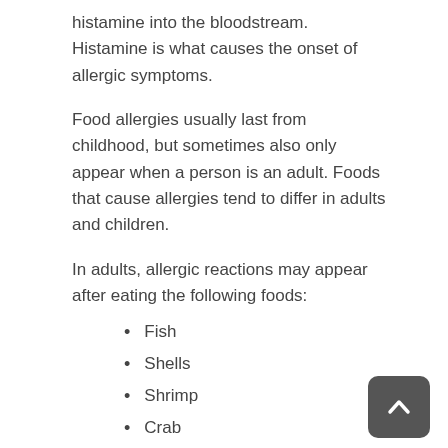histamine into the bloodstream. Histamine is what causes the onset of allergic symptoms.
Food allergies usually last from childhood, but sometimes also only appear when a person is an adult. Foods that cause allergies tend to differ in adults and children.
In adults, allergic reactions may appear after eating the following foods:
Fish
Shells
Shrimp
Crab
Legumes
While in children, common foods causing allergies include:
Beans
Wheat
Soy
Egg